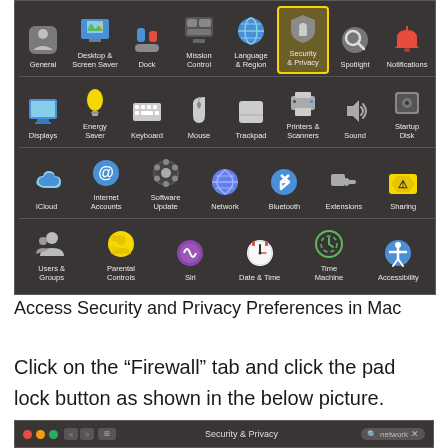[Figure (screenshot): Mac System Preferences window showing icon grid with Security & Privacy highlighted in yellow. Icons include General, Desktop & Screen Saver, Dock, Mission Control, Language & Region, Security & Privacy (highlighted), Spotlight, Notifications, Displays, Energy Saver, Keyboard, Mouse, Trackpad, Printers & Scanners, Sound, Startup Disk, iCloud, Internet Accounts, Software Update, Network, Bluetooth, Extensions, Sharing, Users & Groups, Parental Controls, Siri, Date & Time, Time Machine, Accessibility.]
Access Security and Privacy Preferences in Mac
Click on the “Firewall” tab and click the pad lock button as shown in the below picture.
[Figure (screenshot): Mac window title bar showing Security & Privacy window with traffic light buttons (red, yellow, green), navigation arrows, grid view button, title 'Security & Privacy', and search box with 'network' text.]